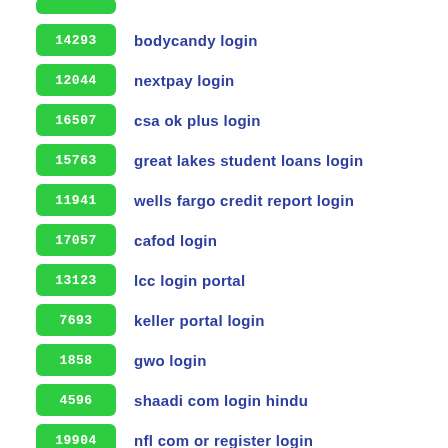14293 bodycandy login
12044 nextpay login
16507 csa ok plus login
15763 great lakes student loans login
11941 wells fargo credit report login
17057 cafod login
13123 lcc login portal
7693 keller portal login
1858 gwo login
4596 shaadi com login hindu
19904 nfl com or register login